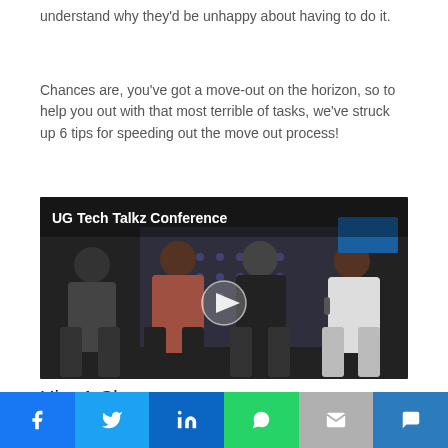understand why they'd be unhappy about having to do it.
Chances are, you've got a move-out on the horizon, so to help you out with that most terrible of tasks, we've struck up 6 tips for speeding out the move out process!
[Figure (screenshot): Video thumbnail showing 4 people seated at a conference panel labeled 'UG Tech Talkz Conference' with a play button overlay]
Hire A Cleaner
Social share bar with Facebook, Twitter, LinkedIn, WhatsApp, Email, SMS buttons